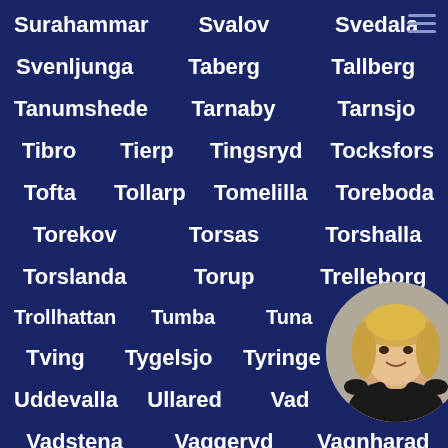Surahammar   Svalov   Svedala
Svenljunga   Taberg   Tallberg
Tanumshede   Tarnaby   Tarnsjo
Tibro   Tierp   Tingsryd   Tocksfors
Tofta   Tollarp   Tomelilla   Toreboda
Torekov   Torsas   Torshalla
Torslanda   Torup   Trelleborg
Trollhattan   Tumba   Tuna   Tvaaker
[Figure (photo): Circular avatar photo of a blonde woman in dark outfit, overlapping the bottom-right of the page]
Tving   Tygelsjo   Tyringe
Uddevalla   Ullared   Vad
Vadstena   Vaggeryd   Vagnharad